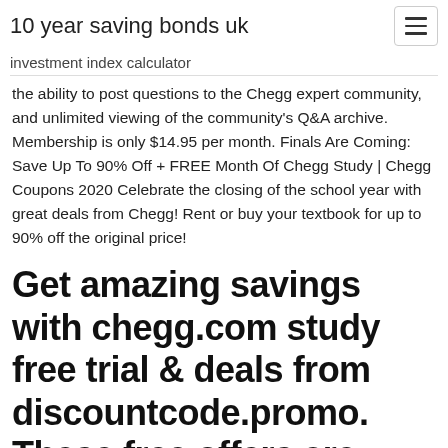10 year saving bonds uk
investment index calculator
the ability to post questions to the Chegg expert community, and unlimited viewing of the community's Q&A archive. Membership is only $14.95 per month. Finals Are Coming: Save Up To 90% Off + FREE Month Of Chegg Study | Chegg Coupons 2020 Celebrate the closing of the school year with great deals from Chegg! Rent or buy your textbook for up to 90% off the original price!
Get amazing savings with chegg.com study free trial & deals from discountcode.promo. These free offers are updated and verified daily